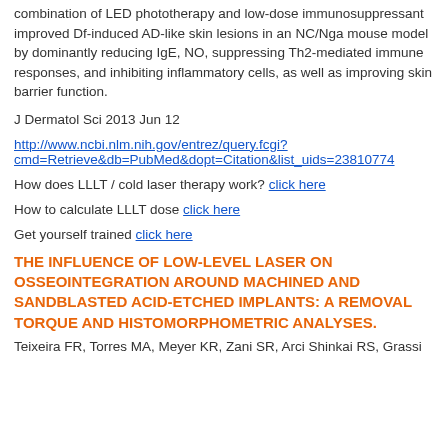combination of LED phototherapy and low-dose immunosuppressant improved Df-induced AD-like skin lesions in an NC/Nga mouse model by dominantly reducing IgE, NO, suppressing Th2-mediated immune responses, and inhibiting inflammatory cells, as well as improving skin barrier function.
J Dermatol Sci 2013 Jun 12
http://www.ncbi.nlm.nih.gov/entrez/query.fcgi?cmd=Retrieve&db=PubMed&dopt=Citation&list_uids=23810774
How does LLLT / cold laser therapy work? click here
How to calculate LLLT dose click here
Get yourself trained click here
THE INFLUENCE OF LOW-LEVEL LASER ON OSSEOINTEGRATION AROUND MACHINED AND SANDBLASTED ACID-ETCHED IMPLANTS: A REMOVAL TORQUE AND HISTOMORPHOMETRIC ANALYSES.
Teixeira FR, Torres MA, Meyer KR, Zani SR, Arci Shinkai RS, Grassi